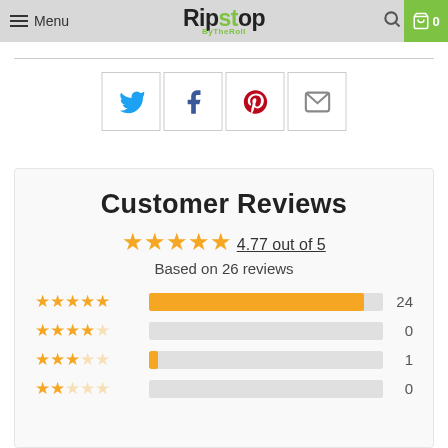Menu | Ripstop ByTheRoll | Search | Cart 0
[Figure (other): Social share buttons: Twitter, Facebook, Pinterest, Email]
Customer Reviews
4.77 out of 5 — Based on 26 reviews
[Figure (bar-chart): Review star distribution]